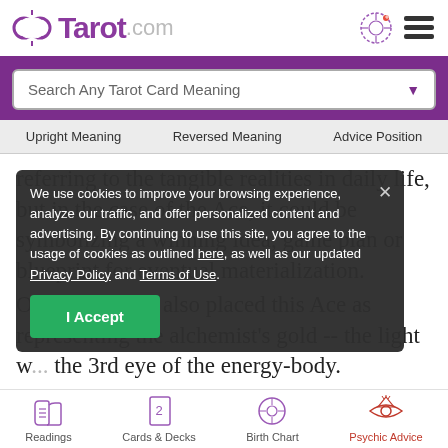Tarot.com
Search Any Tarot Card Meaning
Upright Meaning   Reversed Meaning   Advice Position
referring to the tangible realities in daily life, but in the case of the Ace, it could be symbolizing a winning idea, game plan or blueprint for eventual materialization.
Occultists have also placed this Ace as representing the alchemist's gold -- the light w... the 3rd eye of the energy-body.
We use cookies to improve your browsing experience, analyze our traffic, and offer personalized content and advertising. By continuing to use this site, you agree to the usage of cookies as outlined here, as well as our updated Privacy Policy and Terms of Use.
I Accept
Readings   Cards & Decks   Birth Chart   Psychic Advice